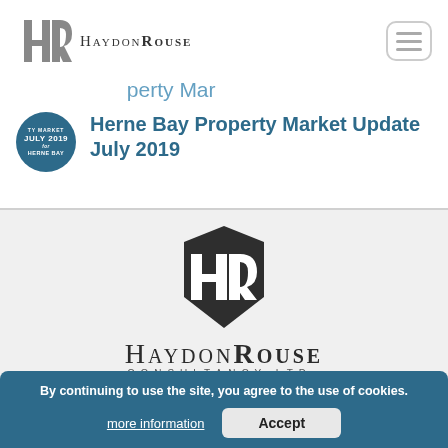[Figure (logo): Haydon Rouse logo top-left with HR monogram and text HAYDON ROUSE]
[Figure (other): Hamburger menu button (three horizontal lines in rounded rectangle)]
Herne Bay Property Market Update July 2019
[Figure (logo): Circular badge: PROPERTY MARKET JULY 2019 for HERNE BAY in teal/dark blue]
Herne Bay Property Market Update July 2019
[Figure (logo): Large Haydon Rouse Consultancy Ltd logo centered on gray background]
Internet Marketing Con... itor
Where do people go these days when looking to buy? So online...
By continuing to use the site, you agree to the use of cookies.
more information
Accept